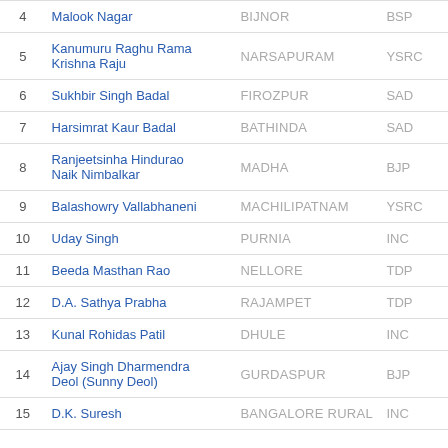| # | Name | Constituency | Party |
| --- | --- | --- | --- |
| 4 | Malook Nagar | BIJNOR | BSP |
| 5 | Kanumuru Raghu Rama Krishna Raju | NARSAPURAM | YSRC |
| 6 | Sukhbir Singh Badal | FIROZPUR | SAD |
| 7 | Harsimrat Kaur Badal | BATHINDA | SAD |
| 8 | Ranjeetsinha Hindurao Naik Nimbalkar | MADHA | BJP |
| 9 | Balashowry Vallabhaneni | MACHILIPATNAM | YSRC |
| 10 | Uday Singh | PURNIA | INC |
| 11 | Beeda Masthan Rao | NELLORE | TDP |
| 12 | D.A. Sathya Prabha | RAJAMPET | TDP |
| 13 | Kunal Rohidas Patil | DHULE | INC |
| 14 | Ajay Singh Dharmendra Deol (Sunny Deol) | GURDASPUR | BJP |
| 15 | D.K. Suresh | BANGALORE RURAL | INC |